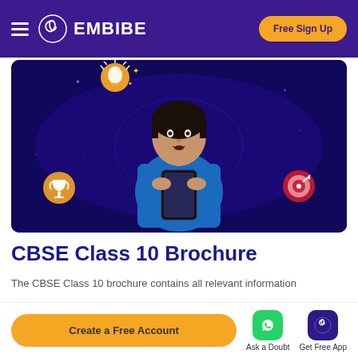EMBIBE — Free Sign Up
[Figure (photo): A young woman in a blue top looking at her smartphone with surprise/excitement, surrounded by illustrated icons (lightbulb, trophy, target) on a dark navy/purple background. Embibe educational platform hero image.]
CBSE Class 10 Brochure
The CBSE Class 10 brochure contains all relevant information
Create a Free Account
Ask a Doubt
Get Free App